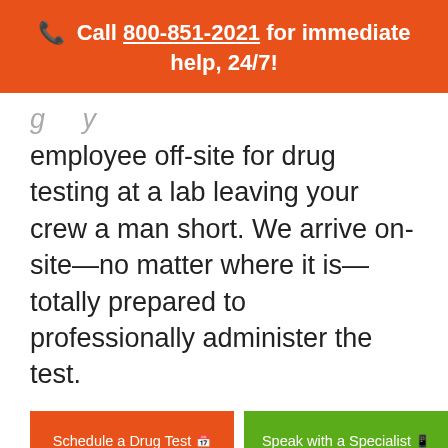📞 Call 800-851-2021 for immediate help, 24/7!
employee off-site for drug testing at a lab leaving your crew a man short. We arrive on-site—no matter where it is—totally prepared to professionally administer the test.
Schedule a Drug Test
Speak with a Specialist
Contact us Online